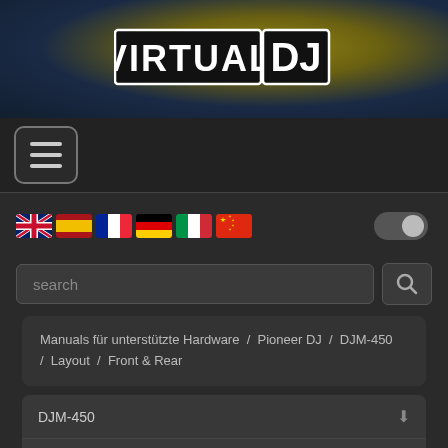[Figure (logo): VirtualDJ logo — white text 'VIRTUAL' on black background with 'DJ' in bold white on black, displayed over a textured blue/yellow banner background]
[Figure (screenshot): Hamburger menu button (three horizontal lines) in a rounded rectangle]
[Figure (infographic): Row of 6 country flags: UK, Spain, France, Germany, Italy, China]
[Figure (other): Toggle switch (off/grey) in top-right of flag row]
search
Manuals für unterstützte Hardware / Pioneer DJ / DJM-450 / Layout / Front & Rear
DJM-450
Setup
Layout
Mixer